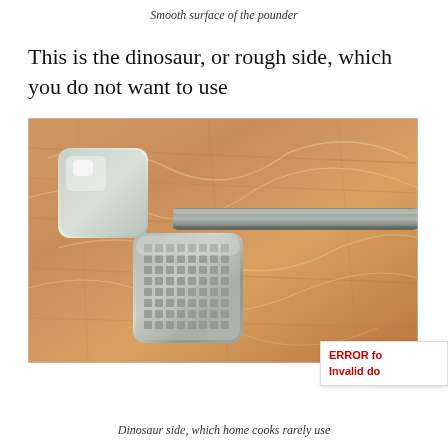Smooth surface of the pounder
This is the dinosaur, or rough side, which you do not want to use
[Figure (photo): A metal meat tenderizer/pounder resting on a wooden cutting board covered with plastic wrap. The front face shows the rough/textured (dinosaur) side with a grid of pyramid-shaped studs, while the back shows the smooth flat side. A long metal handle extends to the right.]
Dinosaur side, which home cooks rarely use